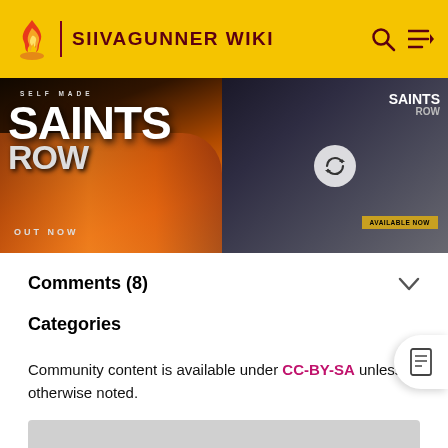SIIVAGUNNER WIKI
[Figure (illustration): Saints Row advertisement banner: left side shows 'SELF MADE SAINTS ROW OUT NOW' text with orange car, right side shows game characters with 'SAINTS ROW AVAILABLE NOW' and a refresh/loading icon overlay]
Comments (8)
Categories
Community content is available under CC-BY-SA unless otherwise noted.
[Figure (other): Gray placeholder rectangle at bottom of page]